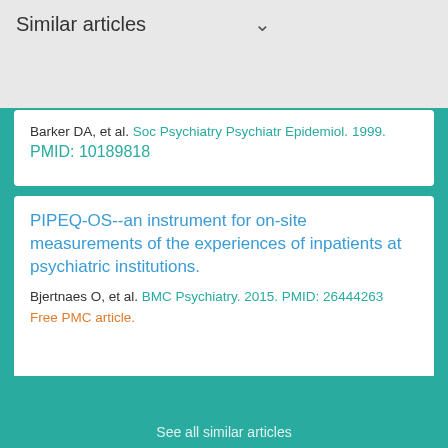Similar articles
Barker DA, et al. Soc Psychiatry Psychiatr Epidemiol. 1999. PMID: 10189818
PIPEQ-OS--an instrument for on-site measurements of the experiences of inpatients at psychiatric institutions.
Bjertnaes O, et al. BMC Psychiatry. 2015. PMID: 26444263 Free PMC article.
Assessment of psychiatric inpatient satisfaction: a systematic review of self-reported instruments.
Boyer L, et al. Eur Psychiatry. 2009. PMID: 19699617 Review.
See all similar articles